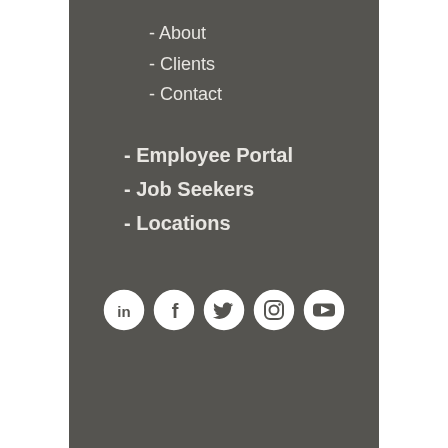- About
- Clients
- Contact
- Employee Portal
- Job Seekers
- Locations
[Figure (illustration): Row of 5 social media icons (LinkedIn, Facebook, Twitter, Instagram, YouTube) in white circles with dark background]